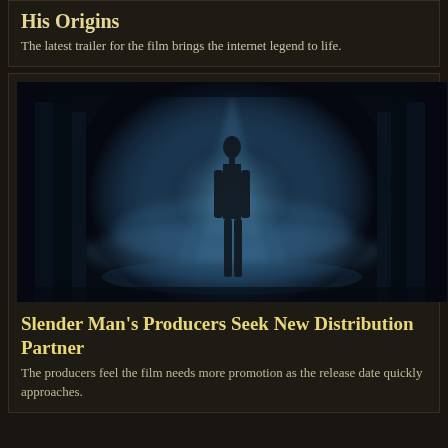His Origins
The latest trailer for the film brings the internet legend to life.
[Figure (illustration): Dark atmospheric illustration of Slender Man — a tall, thin faceless figure in silhouette standing in a misty blue forest with trees on either side and light rays behind]
Slender Man's Producers Seek New Distribution Partner
The producers feel the film needs more promotion as the release date quickly approaches.